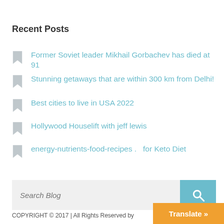Recent Posts
Former Soviet leader Mikhail Gorbachev has died at 91
Stunning getaways that are within 300 km from Delhi!
Best cities to live in USA 2022
Hollywood Houselift with jeff lewis
energy-nutrients-food-recipes .   for Keto Diet
COPYRIGHT © 2017 | All Rights Reserved by